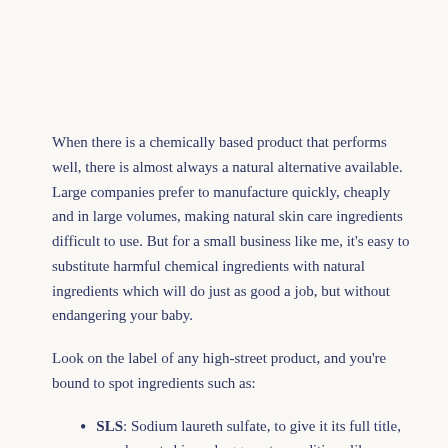When there is a chemically based product that performs well, there is almost always a natural alternative available. Large companies prefer to manufacture quickly, cheaply and in large volumes, making natural skin care ingredients difficult to use. But for a small business like me, it's easy to substitute harmful chemical ingredients with natural ingredients which will do just as good a job, but without endangering your baby.
Look on the label of any high-street product, and you're bound to spot ingredients such as:
SLS: Sodium laureth sulfate, to give it its full title, can dry out skin and aggravate conditions like eczema. It is a powerful detergent, and because a baby's skin has a